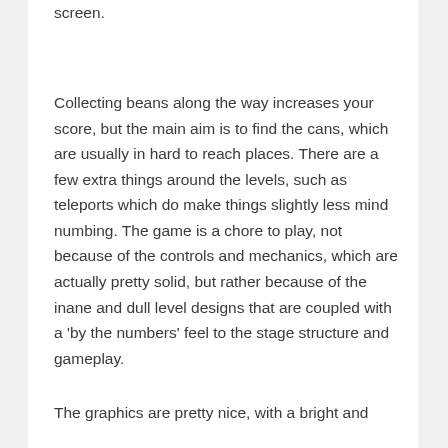screen.
Collecting beans along the way increases your score, but the main aim is to find the cans, which are usually in hard to reach places. There are a few extra things around the levels, such as teleports which do make things slightly less mind numbing. The game is a chore to play, not because of the controls and mechanics, which are actually pretty solid, but rather because of the inane and dull level designs that are coupled with a 'by the numbers' feel to the stage structure and gameplay.
The graphics are pretty nice, with a bright and